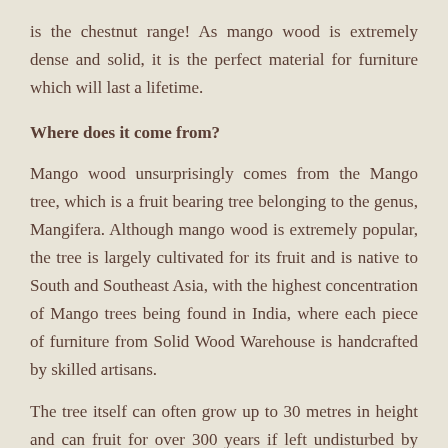is the chestnut range! As mango wood is extremely dense and solid, it is the perfect material for furniture which will last a lifetime.
Where does it come from?
Mango wood unsurprisingly comes from the Mango tree, which is a fruit bearing tree belonging to the genus, Mangifera. Although mango wood is extremely popular, the tree is largely cultivated for its fruit and is native to South and Southeast Asia, with the highest concentration of Mango trees being found in India, where each piece of furniture from Solid Wood Warehouse is handcrafted by skilled artisans.
The tree itself can often grow up to 30 metres in height and can fruit for over 300 years if left undisturbed by nature or man.